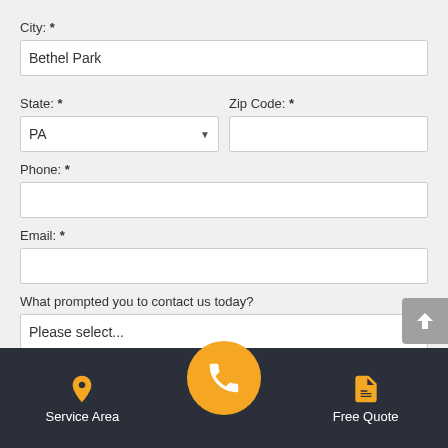City: *
Bethel Park
State: *
Zip Code: *
PA
Phone: *
Email: *
What prompted you to contact us today?
Please select...
Questions and comments:
Service Area
Free Quote